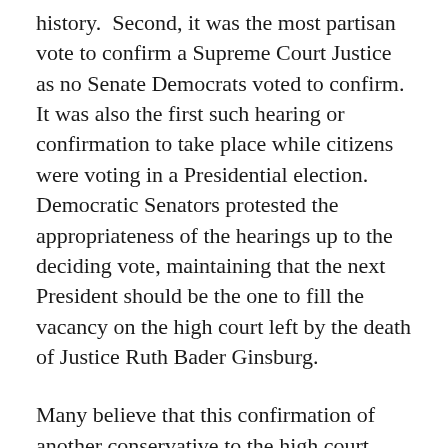history.  Second, it was the most partisan vote to confirm a Supreme Court Justice as no Senate Democrats voted to confirm.  It was also the first such hearing or confirmation to take place while citizens were voting in a Presidential election.  Democratic Senators protested the appropriateness of the hearings up to the deciding vote, maintaining that the next President should be the one to fill the vacancy on the high court left by the death of Justice Ruth Bader Ginsburg.
Many believe that this confirmation of another conservative to the high court means the Affordable Care Act (ACA) will be declared unconstitutional in the case of Calfornia v. Texas which will be heard on November 10.  See Death of RBG Could be Death of ACA.  In a case brought by